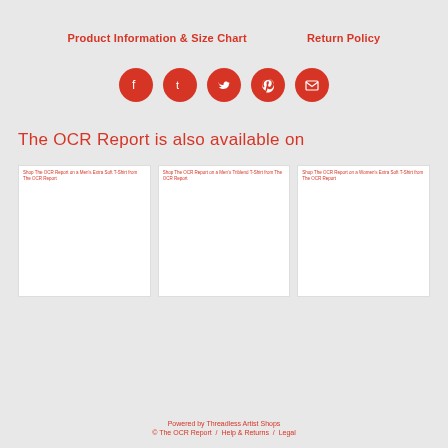Product Information & Size Chart
Return Policy
[Figure (infographic): Five red circular social media icons: Facebook, Tumblr, Twitter, Pinterest, Email]
The OCR Report is also available on
[Figure (screenshot): Shop The OCR Report on a Men's Extra Soft T-Shirt from The OCR Report - white product card]
[Figure (screenshot): Shop The OCR Report on a Men's Triblend T-Shirt from The OCR Report - white product card]
[Figure (screenshot): Shop The OCR Report on a Women's Extra Soft T-Shirt from The OCR Report - white product card]
Powered by Threadless Artist Shops © The OCR Report / Help & Returns / Legal